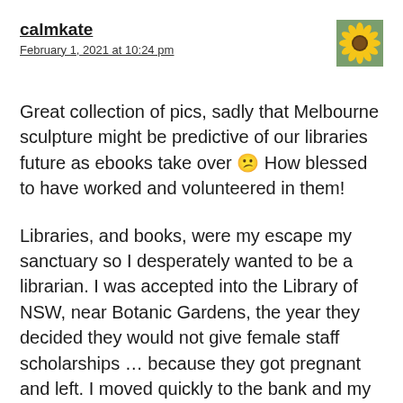calmkate
February 1, 2021 at 10:24 pm
[Figure (photo): Small square avatar image of a yellow sunflower against a blurred green background]
Great collection of pics, sadly that Melbourne sculpture might be predictive of our libraries future as ebooks take over 😕 How blessed to have worked and volunteered in them!
Libraries, and books, were my escape my sanctuary so I desperately wanted to be a librarian. I was accepted into the Library of NSW, near Botanic Gardens, the year they decided they would not give female staff scholarships … because they got pregnant and left. I moved quickly to the bank and my colleagues took 12–16 years to complete their studies …